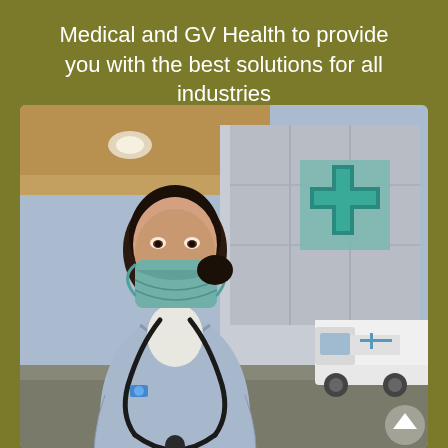Medical and GV Health to provide you with the best solutions for all industries
[Figure (photo): A healthcare worker (nurse/doctor) wearing light blue scrubs, a teal surgical mask, and a stethoscope around the neck, holding a clipboard with blue gloved hands, standing outside a medical facility. In the background is a building with a green cross symbol and a white ambulance van. An upward arrow icon is visible in the bottom right corner of the photo.]